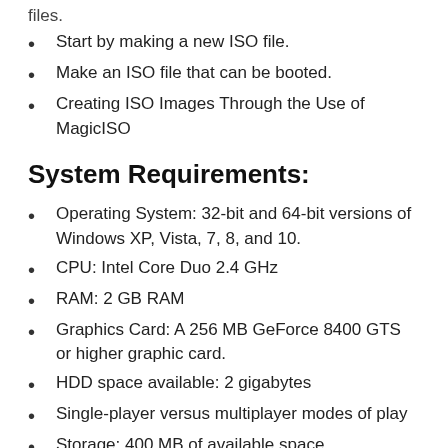files.
Start by making a new ISO file.
Make an ISO file that can be booted.
Creating ISO Images Through the Use of MagicISO
System Requirements:
Operating System: 32-bit and 64-bit versions of Windows XP, Vista, 7, 8, and 10.
CPU: Intel Core Duo 2.4 GHz
RAM: 2 GB RAM
Graphics Card: A 256 MB GeForce 8400 GTS or higher graphic card.
HDD space available: 2 gigabytes
Single-player versus multiplayer modes of play
Storage: 400 MB of available space
Sound Card that is compatible with DirectX